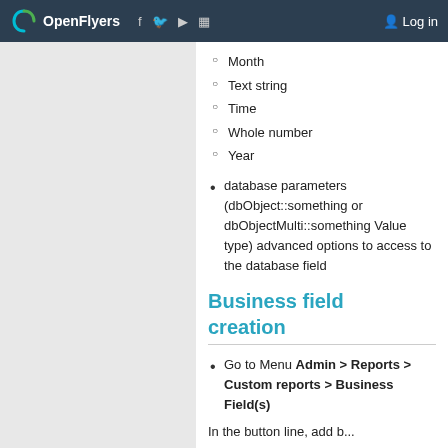OpenFlyers  Log in
Month
Text string
Time
Whole number
Year
database parameters (dbObject::something or dbObjectMulti::something Value type) advanced options to access to the database field
Business field creation
Go to Menu Admin > Reports > Custom reports > Business Field(s)
In the button line, add b...